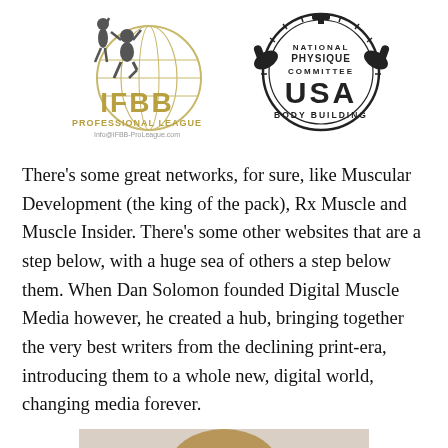[Figure (logo): IFBB Professional League logo with two bodybuilder figures and a globe, gold lettering, Info@IFBB-ProLeague.com]
[Figure (logo): National Physique Committee USA Body Building logo with muscular arms and sunburst design]
There’s some great networks, for sure, like Muscular Development (the king of the pack), Rx Muscle and Muscle Insider. There’s some other websites that are a step below, with a huge sea of others a step below them. When Dan Solomon founded Digital Muscle Media however, he created a hub, bringing together the very best writers from the declining print-era, introducing them to a whole new, digital world, changing media forever.
[Figure (photo): Partial photo of a person, cropped at bottom of page, showing top of head with light brown hair]